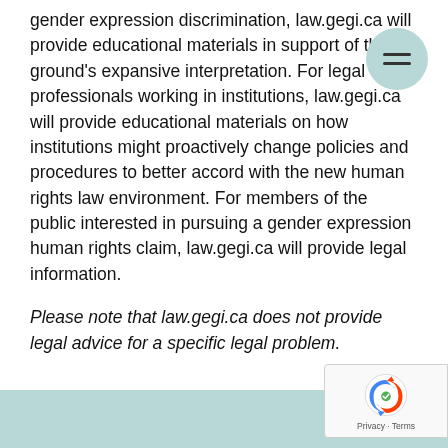gender expression discrimination, law.gegi.ca will provide educational materials in support of the ground's expansive interpretation. For legal professionals working in institutions, law.gegi.ca will provide educational materials on how institutions might proactively change policies and procedures to better accord with the new human rights law environment. For members of the public interested in pursuing a gender expression human rights claim, law.gegi.ca will provide legal information.
Please note that law.gegi.ca does not provide legal advice for a specific legal problem.